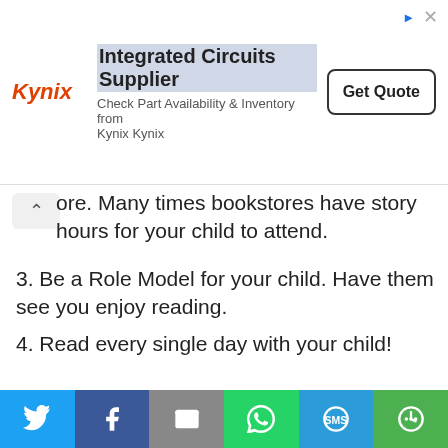[Figure (other): Kynix advertisement banner: Integrated Circuits Supplier - Check Part Availability & Inventory from Kynix Kynix - Get Quote button]
ore. Many times bookstores have story hours for your child to attend.
3. Be a Role Model for your child. Have them see you enjoy reading.
4. Read every single day with your child!
How to Help your Child Select a Book
Many school's library rules are to pick "one just-right
[Figure (infographic): Social sharing bar with Twitter, Facebook, Email, WhatsApp, SMS, and More buttons]